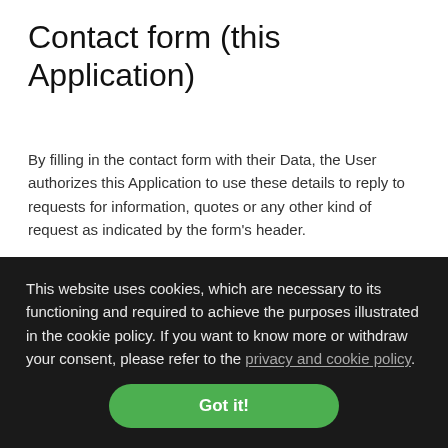Contact form (this Application)
By filling in the contact form with their Data, the User authorizes this Application to use these details to reply to requests for information, quotes or any other kind of request as indicated by the form's header.
Personal Data collected: firstname, lastname, street, email, zip,
This website uses cookies, which are necessary to its functioning and required to achieve the purposes illustrated in the cookie policy. If you want to know more or withdraw your consent, please refer to the privacy and cookie policy.
Got it!